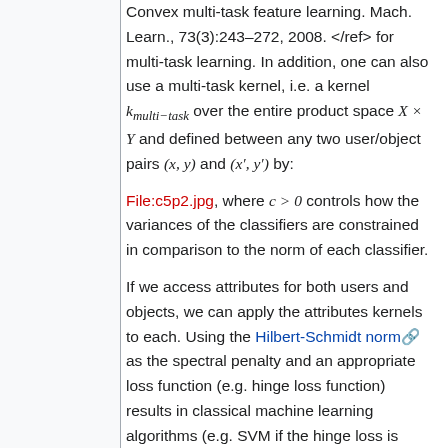Convex multi-task feature learning. Mach. Learn., 73(3):243–272, 2008. </ref> for multi-task learning. In addition, one can also use a multi-task kernel, i.e. a kernel k_multi-task over the entire product space X × Y and defined between any two user/object pairs (x, y) and (x′, y′) by:
File:c5p2.jpg, where c > 0 controls how the variances of the classifiers are constrained in comparison to the norm of each classifier.
If we access attributes for both users and objects, we can apply the attributes kernels to each. Using the Hilbert-Schmidt norm as the spectral penalty and an appropriate loss function (e.g. hinge loss function) results in classical machine learning algorithms (e.g. SVM if the hinge loss is used as the loss...